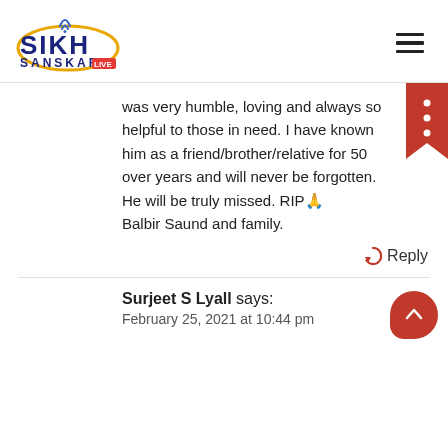[Figure (logo): Sikh Sanskar Live logo with an oval/ellipse gold outline and blue text]
was very humble, loving and always so helpful to those in need. I have known him as a friend/brother/relative for 50 over years and will never be forgotten. He will be truly missed. RIP🙏
Balbir Saund and family.
Reply
Surjeet S Lyall says:
February 25, 2021 at 10:44 pm